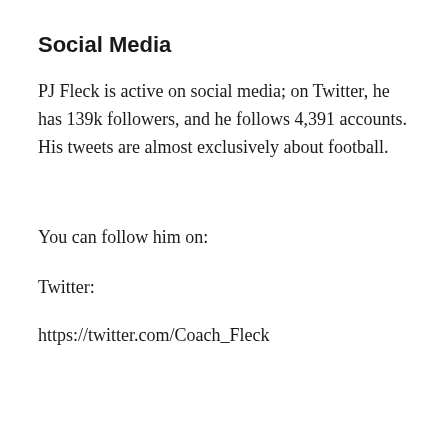Social Media
PJ Fleck is active on social media; on Twitter, he has 139k followers, and he follows 4,391 accounts. His tweets are almost exclusively about football.
You can follow him on:
Twitter:
https://twitter.com/Coach_Fleck